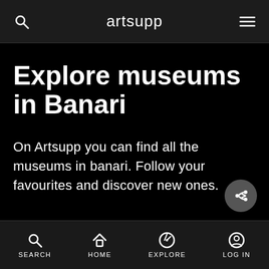artsupp
Explore museums in Banari
On Artsupp you can find all the museums in banari. Follow your favourites and discover new ones.
SEARCH HOME EXPLORE LOG IN